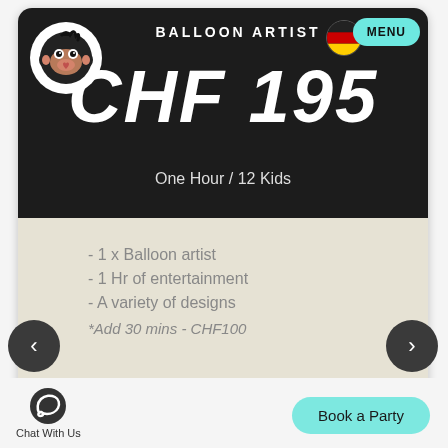[Figure (logo): Monkey face logo in white circle on dark background]
BALLOON ARTIST
[Figure (illustration): German flag circle icon]
MENU
CHF 195
One Hour / 12 Kids
- 1 x Balloon artist
- 1 Hr of entertainment
- A variety of designs
*Add 30 mins - CHF100
[Figure (illustration): Left navigation arrow circle button]
[Figure (illustration): Right navigation arrow circle button]
[Figure (illustration): WhatsApp chat icon]
Chat With Us
Book a Party